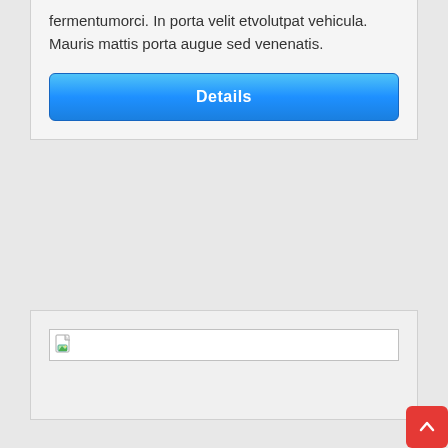fermentumorci. In porta velit etvolutpat vehicula. Mauris mattis porta augue sed venenatis.
Details
[Figure (screenshot): A broken image placeholder box with a small broken image icon in the top-left corner, inside a card with light gray background.]
[Figure (illustration): A red rounded square back-to-top button with a white upward-pointing chevron arrow in the bottom-right corner.]